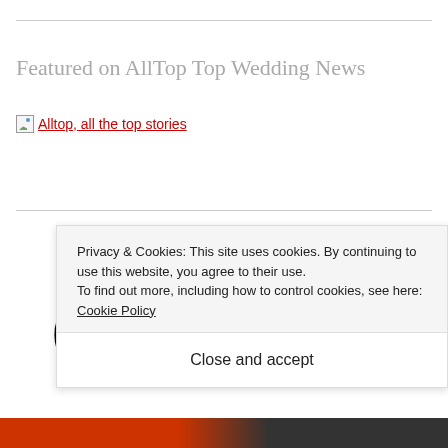Featured on AllTop Top Wedding News
Alltop, all the top stories
[Figure (screenshot): Large decorative text characters partially visible at bottom of main content area]
Privacy & Cookies: This site uses cookies. By continuing to use this website, you agree to their use.
To find out more, including how to control cookies, see here: Cookie Policy
Close and accept